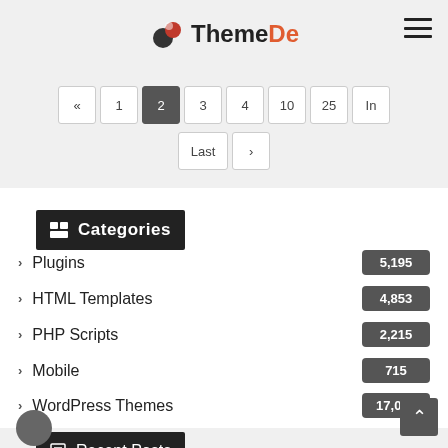ThemeDe
Pagination: « 1 2 3 4 10 25 In ... Last »
Categories
Plugins 5,195
HTML Templates 4,853
PHP Scripts 2,215
Mobile 715
WordPress Themes 17,037
Recent Posts